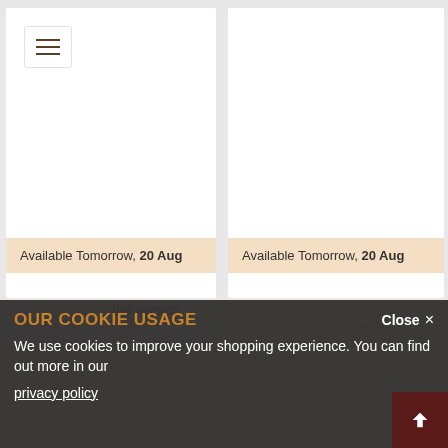[Figure (screenshot): Two product cards side by side, each showing 'Available Tomorrow, 20 Aug' in a peach/beige banner. Left card shows product name 'Indulgence' partially visible. Right card shows product name 'Remy' and price '£41.99'. A hamburger menu icon is visible in the top-left of the left card.]
Available Tomorrow, 20 Aug
Available Tomorrow, 20 Aug
Indulgence
Remy
£41.99
OUR COOKIE USAGE
We use cookies to improve your shopping experience. You can find out more in our
privacy policy
Close ×